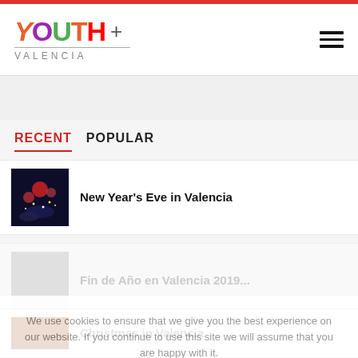[Figure (logo): YOUTH+ Valencia colorful logo with hamburger menu icon]
RECENT  POPULAR
[Figure (photo): New Year's Eve night scene with red balloons and lights]
New Year's Eve in Valencia
We use cookies to ensure that we give you the best experience on our website. If you continue to use this site we will assume that you are happy with it.
Ok
Christmas in Valencia